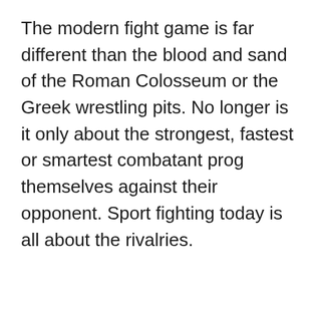The modern fight game is far different than the blood and sand of the Roman Colosseum or the Greek wrestling pits. No longer is it only about the strongest, fastest or smartest combatant prog themselves against their opponent. Sport fighting today is all about the rivalries.